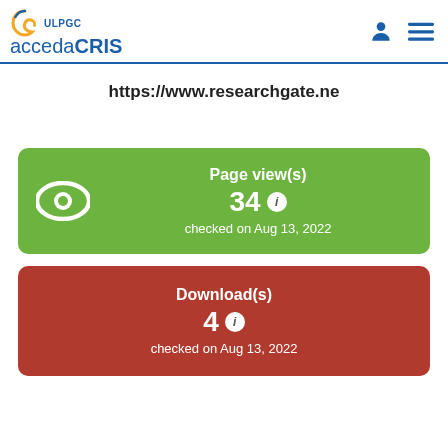ULPGC accedaCRIS
https://www.researchgate.ne
[Figure (infographic): Green card showing Page view(s): 34, checked on Aug 13, 2022 with eye icon]
[Figure (infographic): Red card showing Download(s): 4, checked on Aug 13, 2022]